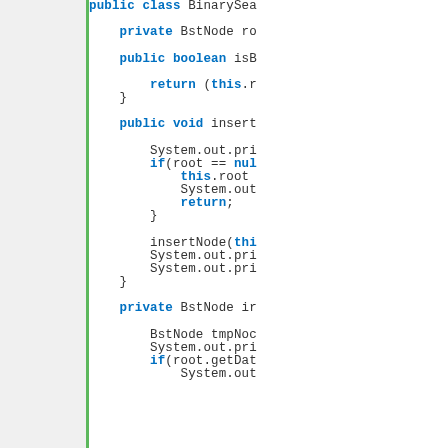[Figure (screenshot): Java source code editor screenshot showing lines 6-34 of a BinarySearchTree class implementation. A green vertical bar separates line numbers from code. Keywords like public, private, class, boolean, void, return, if, this, null are highlighted in bold blue. The code shows class declaration, isB method, insert method with System.out.print calls, null check, insertNode call, and beginning of private insertNode method with BstNode tmpNode declaration.]